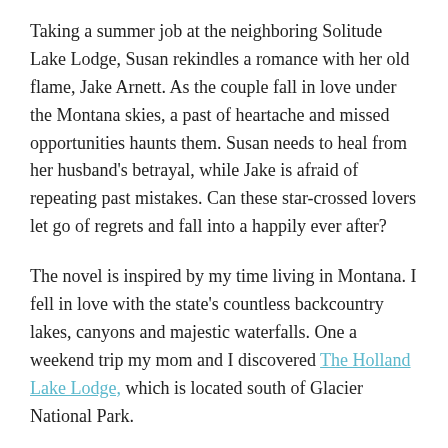Taking a summer job at the neighboring Solitude Lake Lodge, Susan rekindles a romance with her old flame, Jake Arnett. As the couple fall in love under the Montana skies, a past of heartache and missed opportunities haunts them. Susan needs to heal from her husband's betrayal, while Jake is afraid of repeating past mistakes. Can these star-crossed lovers let go of regrets and fall into a happily ever after?
The novel is inspired by my time living in Montana. I fell in love with the state's countless backcountry lakes, canyons and majestic waterfalls. One a weekend trip my mom and I discovered The Holland Lake Lodge, which is located south of Glacier National Park.
As I toured the rustic lodge, an idea was born…